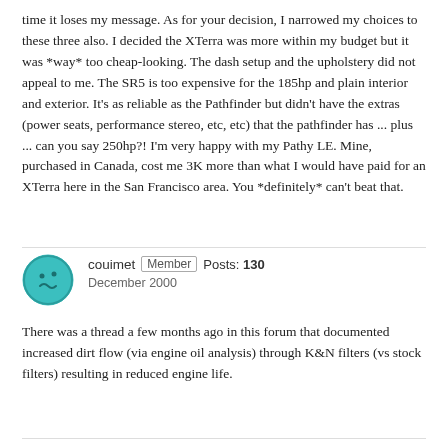time it loses my message. As for your decision, I narrowed my choices to these three also. I decided the XTerra was more within my budget but it was *way* too cheap-looking. The dash setup and the upholstery did not appeal to me. The SR5 is too expensive for the 185hp and plain interior and exterior. It's as reliable as the Pathfinder but didn't have the extras (power seats, performance stereo, etc, etc) that the pathfinder has ... plus ... can you say 250hp?! I'm very happy with my Pathy LE. Mine, purchased in Canada, cost me 3K more than what I would have paid for an XTerra here in the San Francisco area. You *definitely* can't beat that.
couimet  Member  Posts: 130  December 2000
There was a thread a few months ago in this forum that documented increased dirt flow (via engine oil analysis) through K&N filters (vs stock filters) resulting in reduced engine life.